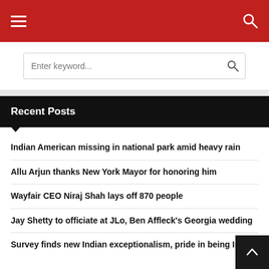Navigation bar with hamburger menu and search icon
Enter keyword...
Recent Posts
Indian American missing in national park amid heavy rain
Allu Arjun thanks New York Mayor for honoring him
Wayfair CEO Niraj Shah lays off 870 people
Jay Shetty to officiate at JLo, Ben Affleck's Georgia wedding
Survey finds new Indian exceptionalism, pride in being Indian